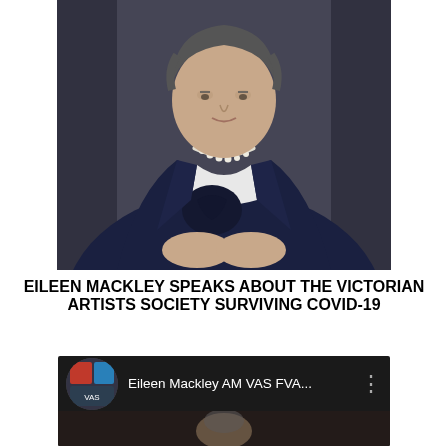[Figure (photo): Portrait photo of a woman wearing a dark navy blazer with a pearl necklace and a small gold brooch, seated with hands clasped, against a dark gray background.]
EILEEN MACKLEY SPEAKS ABOUT THE VICTORIAN ARTISTS SOCIETY SURVIVING COVID-19
[Figure (screenshot): YouTube video thumbnail showing a channel icon on the left, the channel name 'Eileen Mackley AM VAS FVA...' in white text on a dark background, and a vertical three-dot menu icon on the right. A partial video preview of a woman's face is visible at the bottom.]